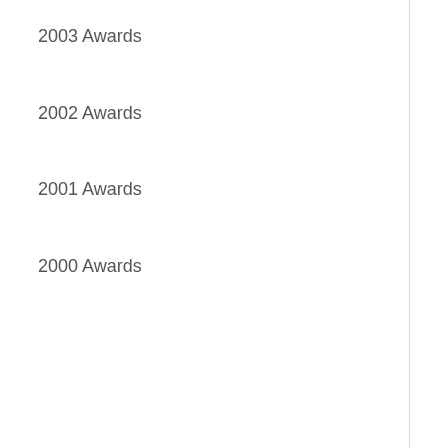2003 Awards
2002 Awards
2001 Awards
2000 Awards